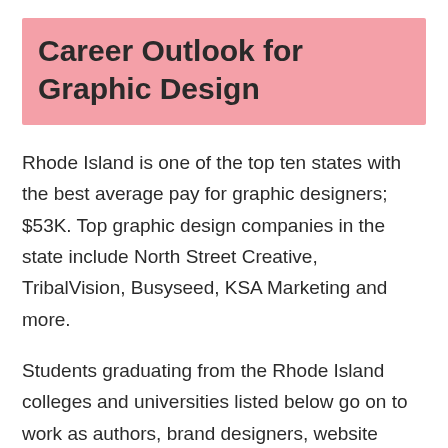Career Outlook for Graphic Design
Rhode Island is one of the top ten states with the best average pay for graphic designers; $53K. Top graphic design companies in the state include North Street Creative, TribalVision, Busyseed, KSA Marketing and more.
Students graduating from the Rhode Island colleges and universities listed below go on to work as authors, brand designers, website designers, signage artists, magazine design